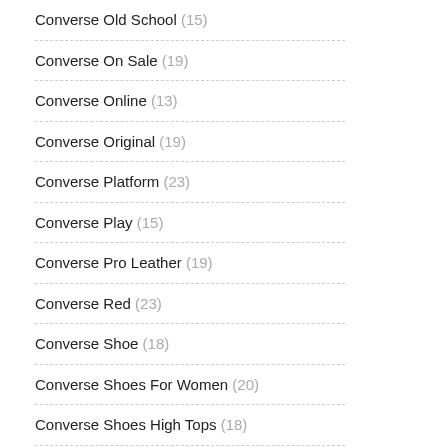Converse Old School (15)
Converse On Sale (19)
Converse Online (13)
Converse Original (19)
Converse Platform (23)
Converse Play (15)
Converse Pro Leather (19)
Converse Red (23)
Converse Shoe (18)
Converse Shoes For Women (20)
Converse Shoes High Tops (18)
Converse Shoes Online (19)
Converse Shoreline (19)
Converse Skate (18)
Converse Skate Shoes (20)
Converse Skateboard (9)